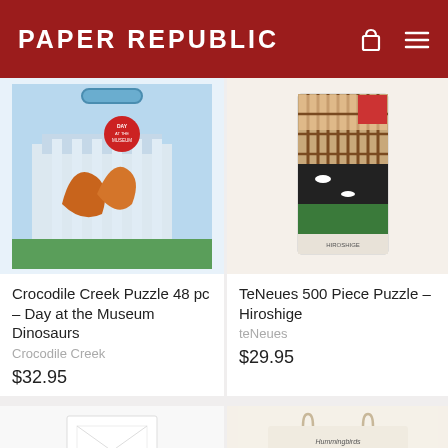PAPER REPUBLIC
[Figure (photo): Crocodile Creek puzzle box with dinosaur museum theme, blue carry handle box]
Crocodile Creek Puzzle 48 pc – Day at the Museum Dinosaurs
Crocodile Creek
$32.95
[Figure (photo): TeNeues 500 Piece Puzzle Hiroshige – Japanese woodblock art puzzle box]
TeNeues 500 Piece Puzzle – Hiroshige
teNeues
$29.95
[Figure (photo): White box/stationery product, partially visible at bottom left]
[Figure (photo): Hummingbirds tote bag on cream background, partially visible at bottom right]